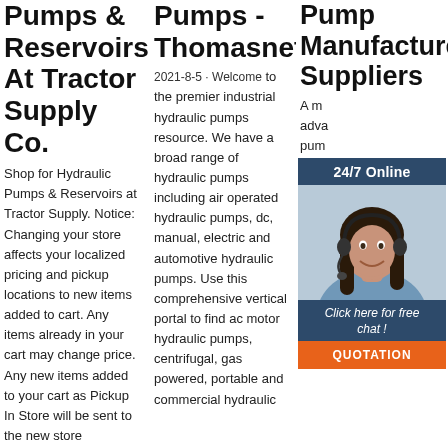Pumps & Reservoirs At Tractor Supply Co.
Shop for Hydraulic Pumps & Reservoirs at Tractor Supply. Notice: Changing your store affects your localized pricing and pickup locations to new items added to cart. Any items already in your cart may change price. Any new items added to your cart as Pickup In Store will be sent to the new store
Pumps - Thomasnet
2021-8-5 · Welcome to the premier industrial hydraulic pumps resource. We have a broad range of hydraulic pumps including air operated hydraulic pumps, dc, manual, electric and automotive hydraulic pumps. Use this comprehensive vertical portal to find ac motor hydraulic pumps, centrifugal, gas powered, portable and commercial hydraulic
Pump Manufacturers Suppliers
[Figure (other): Customer service chat widget with '24/7 Online' header, photo of woman with headset, 'Click here for free chat!' text, and orange QUOTATION button]
A m adva pum of p to g cas pum tim por elec Some types of hydraulic pumps (e.g. piston pum more expensive than the average hydraulic